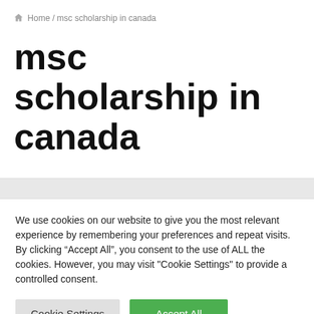Home / msc scholarship in canada
msc scholarship in canada
We use cookies on our website to give you the most relevant experience by remembering your preferences and repeat visits. By clicking “Accept All”, you consent to the use of ALL the cookies. However, you may visit "Cookie Settings" to provide a controlled consent.
Cookie Settings | Accept All